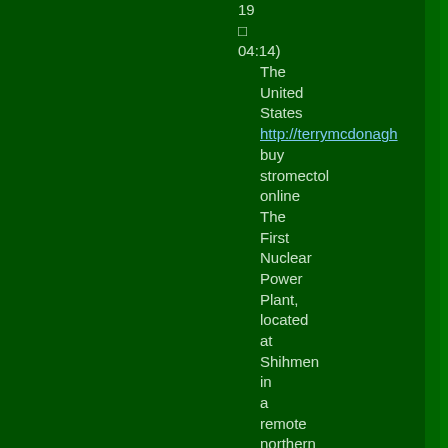19
□
04:14)
    The United States http://terrymcdonagh buy stromectol online The First Nuclear Power Plant, located at Shihmen in a remote northern coastal location but not